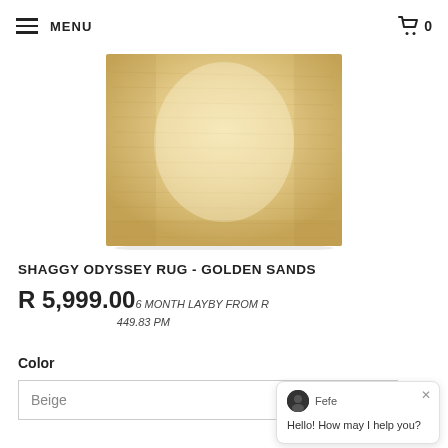MENU  🛒 0
[Figure (photo): A beige/golden shaggy rug photographed from above, rectangular shape with textured fibres in sandy golden tones]
SHAGGY ODYSSEY RUG - GOLDEN SANDS
R 5,999.00  6 MONTH LAYBY FROM R 449.83 PM
Color
Beige